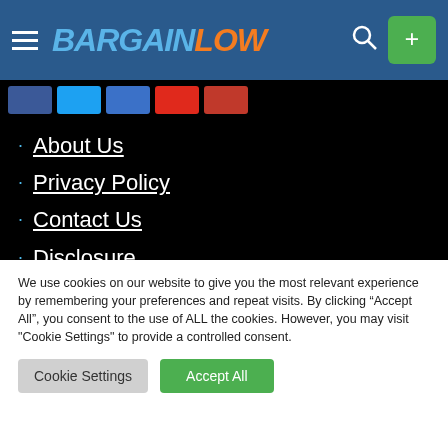BARGAINLOW
About Us
Privacy Policy
Contact Us
Disclosure
SITEMAP
We use cookies on our website to give you the most relevant experience by remembering your preferences and repeat visits. By clicking “Accept All”, you consent to the use of ALL the cookies. However, you may visit "Cookie Settings" to provide a controlled consent.